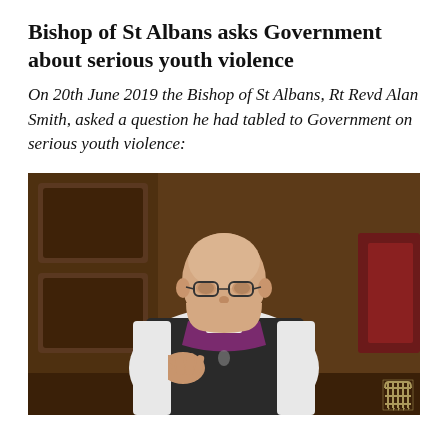Bishop of St Albans asks Government about serious youth violence
On 20th June 2019 the Bishop of St Albans, Rt Revd Alan Smith, asked a question he had tabled to Government on serious youth violence:
[Figure (photo): A bishop in white and black robes with purple clerical collar, bald, wearing glasses, speaking and gesturing with his hand in what appears to be the House of Lords chamber with ornate wooden panelling in the background. A Parliament portcullis watermark appears in the bottom right corner.]